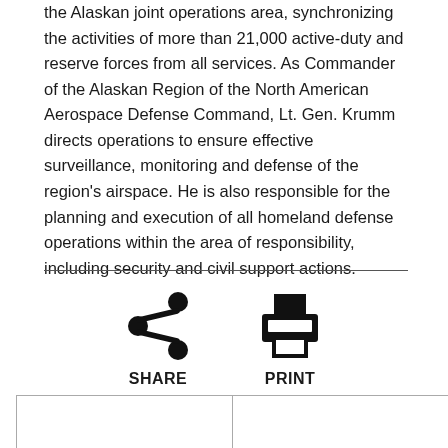the Alaskan joint operations area, synchronizing the activities of more than 21,000 active-duty and reserve forces from all services. As Commander of the Alaskan Region of the North American Aerospace Defense Command, Lt. Gen. Krumm directs operations to ensure effective surveillance, monitoring and defense of the region's airspace. He is also responsible for the planning and execution of all homeland defense operations within the area of responsibility, including security and civil support actions.
[Figure (infographic): Share and Print action icons with labels SHARE and PRINT]
|  |  |